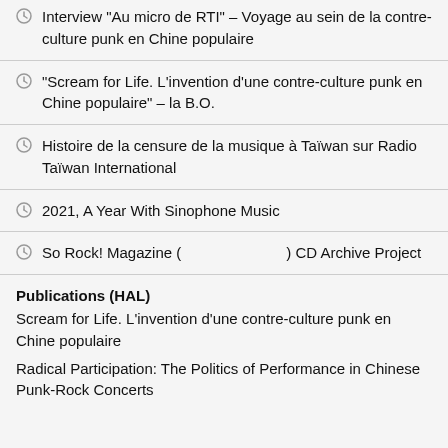Interview "Au micro de RTI" – Voyage au sein de la contre-culture punk en Chine populaire
"Scream for Life. L'invention d'une contre-culture punk en Chine populaire" – la B.O.
Histoire de la censure de la musique à Taïwan sur Radio Taïwan International
2021, A Year With Sinophone Music
So Rock! Magazine (　　　　　　　) CD Archive Project
Publications (HAL)
Scream for Life. L'invention d'une contre-culture punk en Chine populaire
Radical Participation: The Politics of Performance in Chinese Punk-Rock Concerts